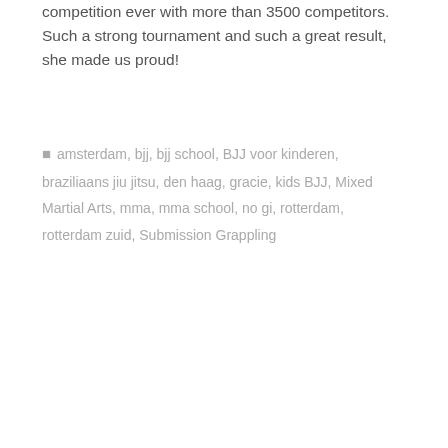competition ever with more than 3500 competitors. Such a strong tournament and such a great result, she made us proud!
amsterdam, bjj, bjj school, BJJ voor kinderen, braziliaans jiu jitsu, den haag, gracie, kids BJJ, Mixed Martial Arts, mma, mma school, no gi, rotterdam, rotterdam zuid, Submission Grappling